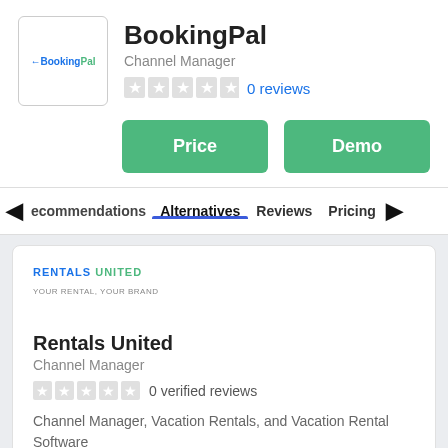[Figure (logo): BookingPal logo — text logo with blue and green colors]
BookingPal
Channel Manager
0 reviews
Price
Demo
◄ecommendations   Alternatives   Reviews   Pricing   ►
[Figure (logo): Rentals United logo — text logo in blue and green]
Rentals United
Channel Manager
0 verified reviews
Channel Manager, Vacation Rentals, and Vacation Rental Software